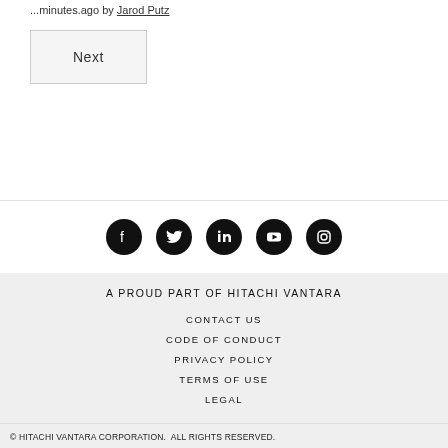...minutes ago by Jarod Putz
Next
[Figure (other): Social media icons: Facebook, Twitter, LinkedIn, YouTube, Instagram — white icons on black circular backgrounds]
A PROUD PART OF HITACHI VANTARA
CONTACT US
CODE OF CONDUCT
PRIVACY POLICY
TERMS OF USE
LEGAL
© HITACHI VANTARA CORPORATION.  ALL RIGHTS RESERVED.